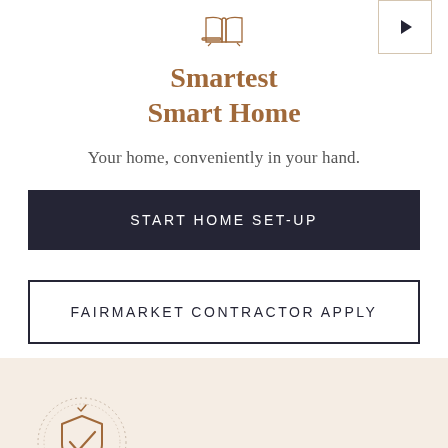[Figure (logo): Open book / smart home icon above title, and play button in top right corner]
Smartest Smart Home
Your home, conveniently in your hand.
START HOME SET-UP
FAIRMARKET CONTRACTOR APPLY
[Figure (illustration): Shield with checkmark inside a decorative circular medallion, displayed on a warm beige background section]